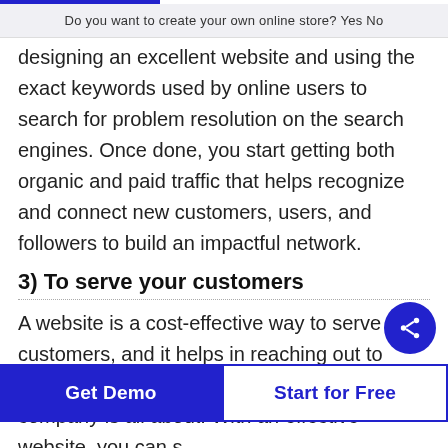Do you want to create your own online store?  Yes  No
designing an excellent website and using the exact keywords used by online users to search for problem resolution on the search engines. Once done, you start getting both organic and paid traffic that helps recognize and connect new customers, users, and followers to build an impactful network.
3) To serve your customers
A website is a cost-effective way to serve your customers, and it helps in reaching out to more customers and shows them what your company is all about. With an effective website, you can s…